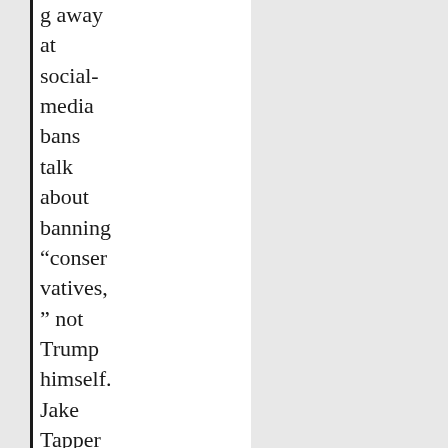g away at social-media bans talk about banning “conservatives,” not Trump himself. Jake Tapper of CNN is mentioned in more of these emails than Trump is. I also